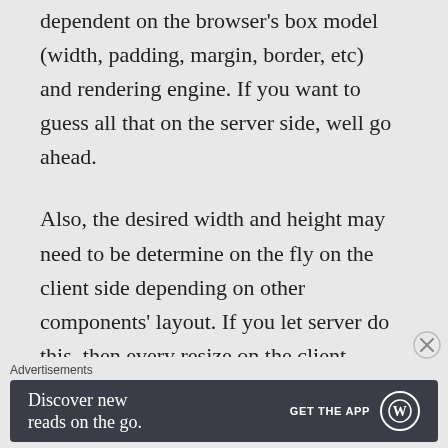dependent on the browser's box model (width, padding, margin, border, etc) and rendering engine. If you want to guess all that on the server side, well go ahead.
Also, the desired width and height may need to be determine on the fly on the client side depending on other components' layout. If you let server do this, then every resize on the client
Advertisements
[Figure (other): Ad banner with dark background: 'Discover new reads on the go.' with GET THE APP and WordPress logo]